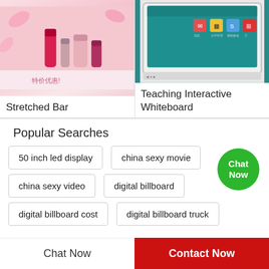[Figure (photo): Product image of cosmetics/beauty items on a pink background - Stretched Bar product]
Stretched Bar
[Figure (photo): Teaching Interactive Whiteboard shown with a teal screen displaying app icons]
Teaching Interactive Whiteboard
Popular Searches
50 inch led display
china sexy movie
china sexy video
digital billboard
digital billboard cost
digital billboard truck
Chat Now
Chat Now
Contact Now